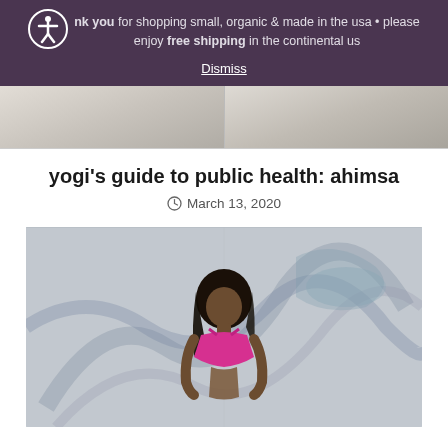Thank you for shopping small, organic & made in the usa • please enjoy free shipping in the continental us
Dismiss
[Figure (photo): Top partial image strip showing what appears to be a warehouse or indoor space with columns, split into two sections]
yogi's guide to public health: ahimsa
March 13, 2020
[Figure (photo): A woman in a pink sports bra posing in front of a graffiti wall outdoors]